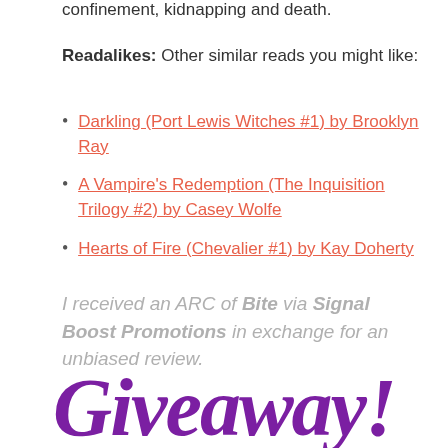confinement, kidnapping and death.
Readalikes: Other similar reads you might like:
Darkling (Port Lewis Witches #1) by Brooklyn Ray
A Vampire's Redemption (The Inquisition Trilogy #2) by Casey Wolfe
Hearts of Fire (Chevalier #1) by Kay Doherty
I received an ARC of Bite via Signal Boost Promotions in exchange for an unbiased review.
[Figure (illustration): Decorative script text reading 'Giveaway!' in purple cursive font]